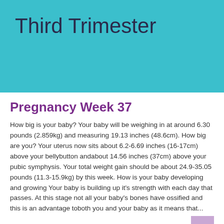Third Trimester
Pregnancy Week 37
How big is your baby? Your baby will be weighing in at around 6.30 pounds (2.859kg) and measuring 19.13 inches (48.6cm). How big are you? Your uterus now sits about 6.2-6.69 inches (16-17cm) above your bellybutton andabout 14.56 inches (37cm) above your pubic symphysis. Your total weight gain should be about 24.9-35.05 pounds (11.3-15.9kg) by this week. How is your baby developing and growing Your baby is building up it's strength with each day that passes. At this stage not all your baby's bones have ossified and this is an advantage toboth you and your baby as it means that...
Read More >